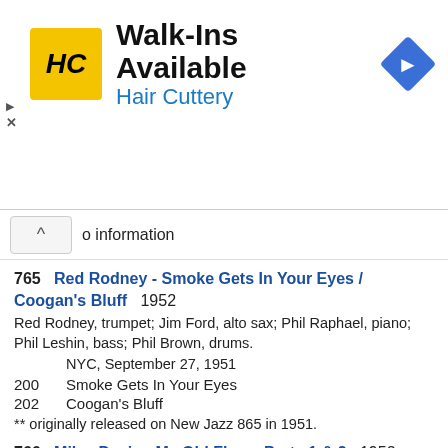[Figure (logo): Hair Cuttery advertisement banner with HC logo, 'Walk-Ins Available' heading, 'Hair Cuttery' subtitle in blue, and a blue navigation diamond icon on the right.]
o information
765   Red Rodney - Smoke Gets In Your Eyes / Coogan's Bluff   1952
Red Rodney, trumpet; Jim Ford, alto sax; Phil Raphael, piano; Phil Leshin, bass; Phil Brown, drums.
NYC, September 27, 1951
200         Smoke Gets In Your Eyes
202         Coogan's Bluff
** originally released on New Jazz 865 in 1951.
766   Miles Davis - My Old Flame Parts 1 & 2   1952
Miles Davis, trumpet; Sonny Rollins, tenor sax; Walter Bishop, piano; Tommy Potter, bass; Art Blakey, drums.
Apex Studios, NYC, October 5, 1951